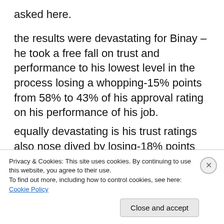asked here.
the results were devastating for Binay – he took a free fall on trust and performance to his lowest level in the process losing a whopping-15% points from 58% to 43% of his approval rating on his performance of his job.
equally devastating is his trust ratings also nose dived by losing-18% points from 57% to 39%.
[Figure (bar-chart): Chart showing Binay's plunging approval and trust ratings in percent, partially obscured by cookie consent banner]
Privacy & Cookies: This site uses cookies. By continuing to use this website, you agree to their use.
To find out more, including how to control cookies, see here: Cookie Policy
Close and accept